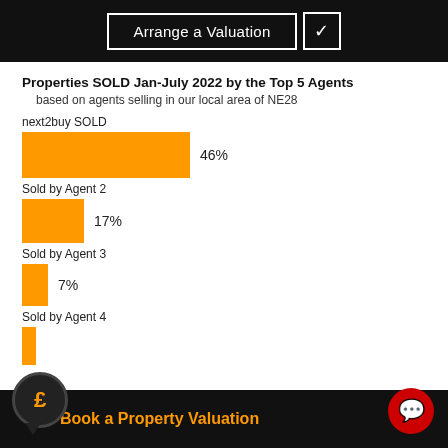[Figure (screenshot): Top navigation bar with 'Arrange a Valuation' button and checkmark on black background]
Properties SOLD Jan-July 2022 by the Top 5 Agents
based on agents selling in our local area of NE28
[Figure (bar-chart): Properties SOLD Jan-July 2022 by the Top 5 Agents]
Book a Property Valuation